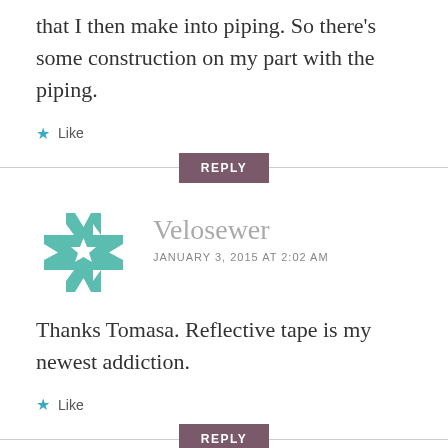that I then make into piping. So there's some construction on my part with the piping.
★ Like
REPLY
[Figure (logo): Velosewer blog logo — teal geometric quilt-pattern cross shape]
Velosewer
JANUARY 3, 2015 AT 2:02 AM
Thanks Tomasa. Reflective tape is my newest addiction.
★ Like
REPLY